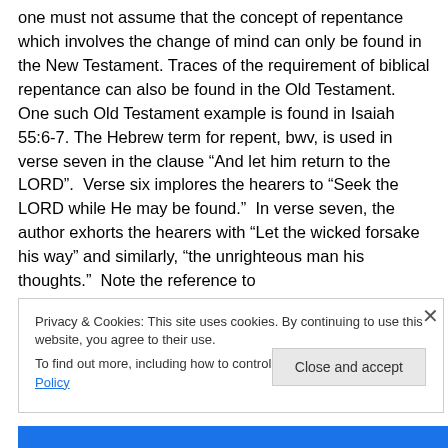one must not assume that the concept of repentance which involves the change of mind can only be found in the New Testament. Traces of the requirement of biblical repentance can also be found in the Old Testament. One such Old Testament example is found in Isaiah 55:6-7. The Hebrew term for repent, bwv, is used in verse seven in the clause “And let him return to the LORD”. Verse six implores the hearers to “Seek the LORD while He may be found.” In verse seven, the author exhorts the hearers with “Let the wicked forsake his way” and similarly, “the unrighteous man his thoughts.” Note the reference to
Privacy & Cookies: This site uses cookies. By continuing to use this website, you agree to their use.
To find out more, including how to control cookies, see here: Cookie Policy
Close and accept